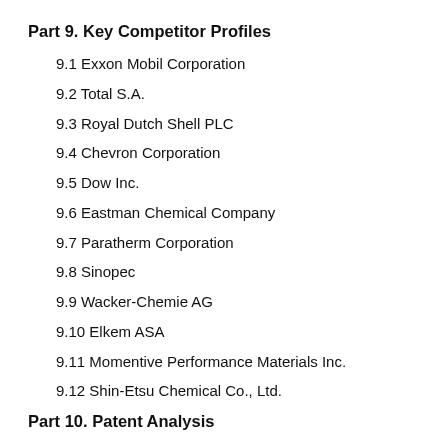Part 9. Key Competitor Profiles
9.1 Exxon Mobil Corporation
9.2 Total S.A.
9.3 Royal Dutch Shell PLC
9.4 Chevron Corporation
9.5 Dow Inc.
9.6 Eastman Chemical Company
9.7 Paratherm Corporation
9.8 Sinopec
9.9 Wacker-Chemie AG
9.10 Elkem ASA
9.11 Momentive Performance Materials Inc.
9.12 Shin-Etsu Chemical Co., Ltd.
Part 10. Patent Analysis